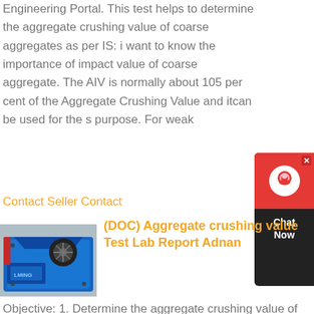Engineering Portal. This test helps to determine the aggregate crushing value of coarse aggregates as per IS: i want to know the importance of impact value of coarse aggregate. The AIV is normally about 105 per cent of the Aggregate Crushing Value and itcan be used for the s purpose. For weak
[Figure (screenshot): Chat Now widget with red top section showing a customer service icon, dark body, and Chat Now text]
Contact Seller Contact
[Figure (photo): Blue jaw crusher machine with a pulley/wheel mechanism, industrial equipment photo]
(DOC) Aggregate crushing value Test Lab Report Adnan
Objective: 1. Determine the aggregate crushing value of coarse aggregate. 2. Assess suitability of coarse aggregate for use in different types of road. The